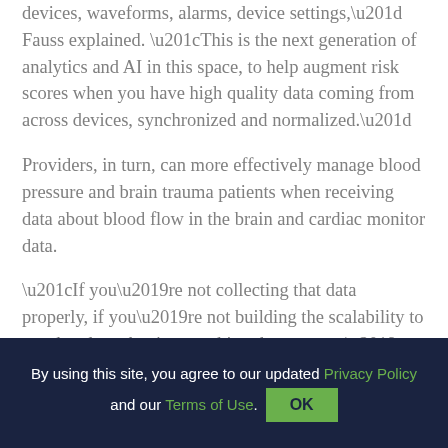devices, waveforms, alarms, device settings,” Fauss explained. “This is the next generation of analytics and AI in this space, to help augment risk scores when you have high quality data coming from across devices, synchronized and normalized.”
Providers, in turn, can more effectively manage blood pressure and brain trauma patients when receiving data about blood flow in the brain and cardiac monitor data.
“If you’re not collecting that data properly, if you’re not building the scalability to use that data, that is something that you can’t overlook,” Fauss said.
By using this site, you agree to our updated Privacy Policy and our Terms of Use. OK